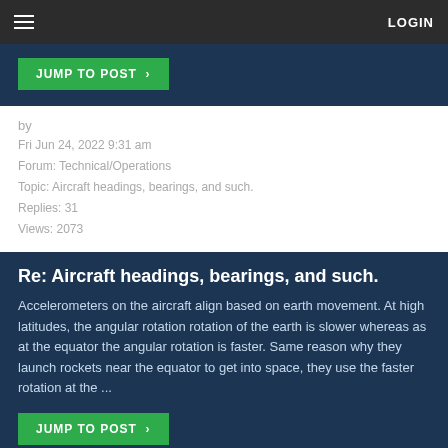LOGIN
[Figure (other): JUMP TO POST button (green) in dark blue section]
by
Fri Jun 24, 2022 9:31 am
Forum: Technical/Operations
Topic: Aircraft headings, bearings, and such.
Replies: 31
Views: 2073
Re: Aircraft headings, bearings, and such.
Accelerometers on the aircraft align based on earth movement. At high latitudes, the angular rotation rotation of the earth is slower whereas as at the equator the angular rotation is faster. Same reason why they launch rockets near the equator to get into space, they use the faster rotation at the ...
[Figure (other): JUMP TO POST button (green) in dark blue section]
by
Thu Jun 23, 2022 4:39 pm
Forum: Technical/Operations
Topic: Triple Simultaneous Landings